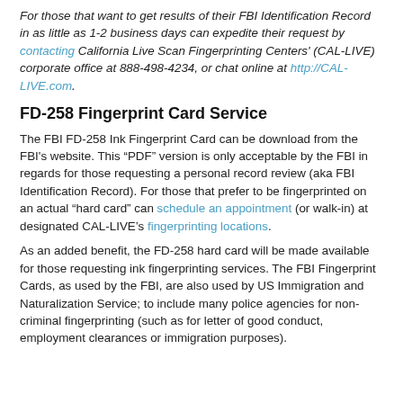For those that want to get results of their FBI Identification Record in as little as 1-2 business days can expedite their request by contacting California Live Scan Fingerprinting Centers' (CAL-LIVE) corporate office at 888-498-4234, or chat online at http://CAL-LIVE.com.
FD-258 Fingerprint Card Service
The FBI FD-258 Ink Fingerprint Card can be download from the FBI's website. This "PDF" version is only acceptable by the FBI in regards for those requesting a personal record review (aka FBI Identification Record). For those that prefer to be fingerprinted on an actual "hard card" can schedule an appointment (or walk-in) at designated CAL-LIVE's fingerprinting locations.
As an added benefit, the FD-258 hard card will be made available for those requesting ink fingerprinting services. The FBI Fingerprint Cards, as used by the FBI, are also used by US Immigration and Naturalization Service; to include many police agencies for non-criminal fingerprinting (such as for letter of good conduct, employment clearances or immigration purposes).